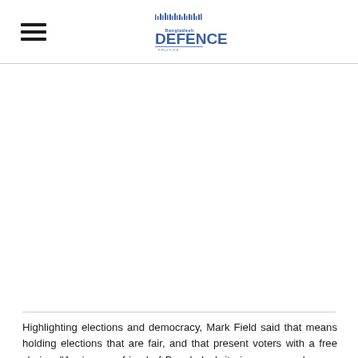Bangladesh Defence & Politics logo with hamburger menu
[Figure (other): Empty advertisement/image area between two horizontal dividers]
Highlighting elections and democracy, Mark Field said that means holding elections that are fair, and that present voters with a free choice. “Again, as a friend of Bangladesh it gives me no pleasure to say this, but I fear the parliamentary elections which took place here in December did not meet